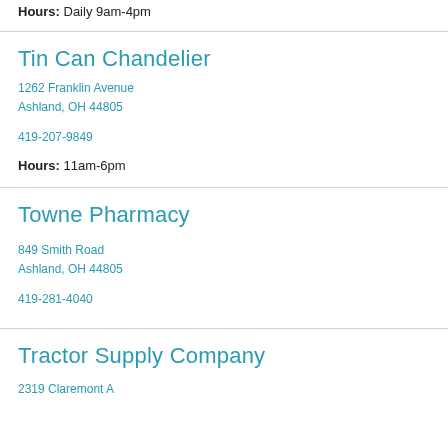Hours: Daily 9am-4pm
Tin Can Chandelier
1262 Franklin Avenue
Ashland, OH 44805
419-207-9849
Hours: 11am-6pm
Towne Pharmacy
849 Smith Road
Ashland, OH 44805
419-281-4040
Tractor Supply Company
2319 Claremont A...